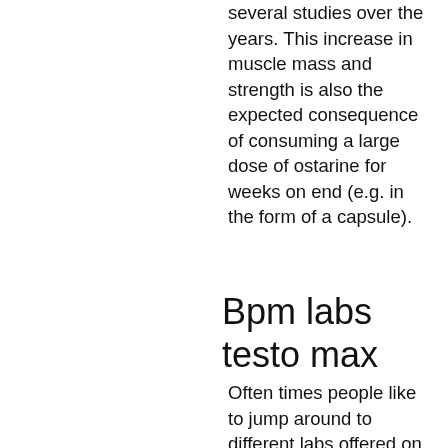several studies over the years. This increase in muscle mass and strength is also the expected consequence of consuming a large dose of ostarine for weeks on end (e.g. in the form of a capsule).
Bpm labs testo max
Often times people like to jump around to different labs offered on steroid sites, but we would suggest to choose the ones that have the most experience in the field. They provide a large, active and productive community of users from all around the world with extensive knowledge in the fields of steroid research and abuse and the best practices to reduce the risk of adverse affects and abuse. We know it is a personal decision whether or not to participate in this community, deca durabolin que contiene. Many people